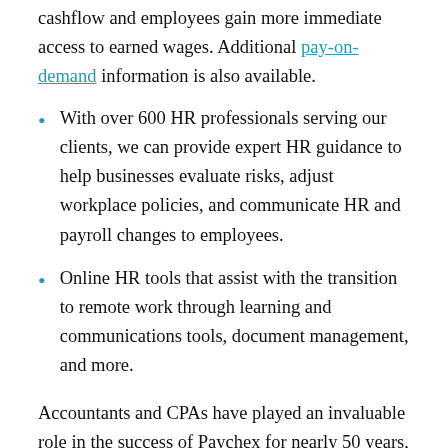cashflow and employees gain more immediate access to earned wages. Additional pay-on-demand information is also available.
With over 600 HR professionals serving our clients, we can provide expert HR guidance to help businesses evaluate risks, adjust workplace policies, and communicate HR and payroll changes to employees.
Online HR tools that assist with the transition to remote work through learning and communications tools, document management, and more.
Accountants and CPAs have played an invaluable role in the success of Paychex for nearly 50 years, and for millions of businesses across America. Many of the advisors we connect clients to and...